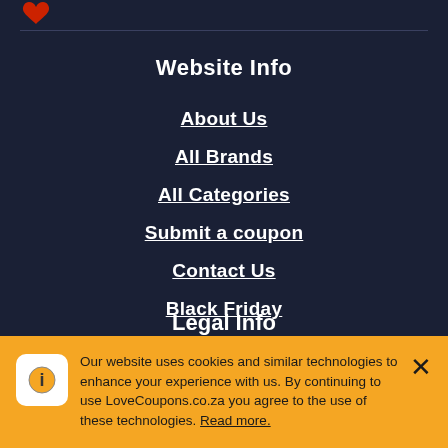[Figure (logo): Red logo mark (partial, top left)]
Website Info
About Us
All Brands
All Categories
Submit a coupon
Contact Us
Black Friday
Cyber Monday
Legal Info
Our website uses cookies and similar technologies to enhance your experience with us. By continuing to use LoveCoupons.co.za you agree to the use of these technologies. Read more.